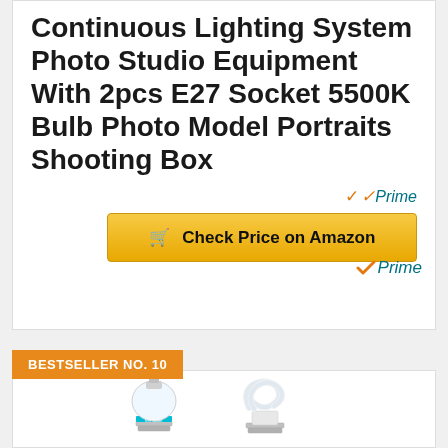Continuous Lighting System Photo Studio Equipment With 2pcs E27 Socket 5500K Bulb Photo Model Portraits Shooting Box
[Figure (logo): Amazon Prime checkmark badge with orange checkmark and blue italic 'Prime' text]
Check Price on Amazon
BESTSELLER NO. 10
[Figure (photo): Two light bulbs - a compact E27 socket bulb with teal band and a spiral CFL bulb, both white/silver]